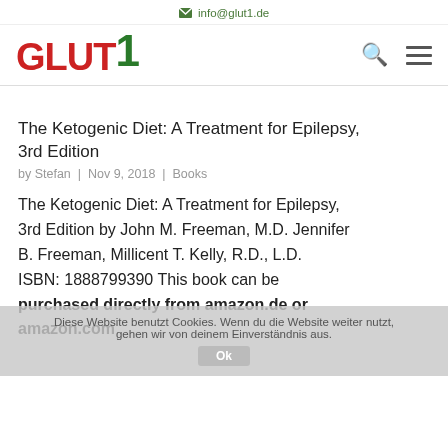info@glut1.de
[Figure (logo): GLUT1 logo with red letters G, L, U, T and green number 1]
The Ketogenic Diet: A Treatment for Epilepsy, 3rd Edition
by Stefan | Nov 9, 2018 | Books
The Ketogenic Diet: A Treatment for Epilepsy, 3rd Edition by John M. Freeman, M.D. Jennifer B. Freeman, Millicent T. Kelly, R.D., L.D. ISBN: 1888799390 This book can be purchased directly from amazon.de or amazon.com
Diese Website benutzt Cookies. Wenn du die Website weiter nutzt, gehen wir von deinem Einverständnis aus. Ok